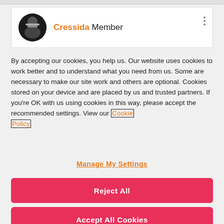[Figure (screenshot): Profile card showing circular avatar with dark illustration of a person in a hard hat, username 'Cressida' in orange followed by 'Member' in dark text, with three vertical dots menu icon in top right corner]
By accepting our cookies, you help us. Our website uses cookies to work better and to understand what you need from us. Some are necessary to make our site work and others are optional. Cookies stored on your device and are placed by us and trusted partners. If you're OK with us using cookies in this way, please accept the recommended settings. View our Cookie Policy
Manage My Settings
Reject All
Accept All Cookies